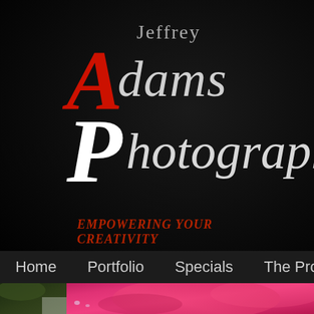[Figure (logo): Jeffrey Adams Photography logo with large stylized red A and white P, italic script text 'dams' and 'hotography' in silver/grey on dark background, tagline 'EMPOWERING YOUR CREATIVITY' in red italic below]
Home    Portfolio    Specials    The Product
[Figure (photo): Close-up photograph of a vibrant pink/magenta rose with water droplets and white lace/netting fabric in the lower left corner, dark green leaves visible on the left side]